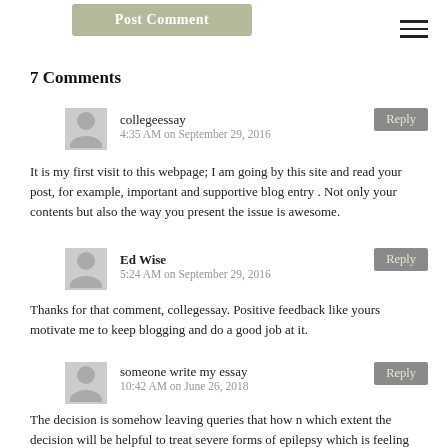[Figure (other): Post Comment button, olive/khaki colored]
[Figure (other): Hamburger menu icon (three horizontal lines)]
7 Comments
collegeessay
4:35 AM on September 29, 2016
It is my first visit to this webpage; I am going by this site and read your post, for example, important and supportive blog entry . Not only your contents but also the way you present the issue is awesome.
Ed Wise
5:24 AM on September 29, 2016
Thanks for that comment, collegessay. Positive feedback like yours motivate me to keep blogging and do a good job at it.
someone write my essay
10:42 AM on June 26, 2018
The decision is somehow leaving queries that how n which extent the decision will be helpful to treat severe forms of epilepsy which is feeling good and more cautious than celebratory as U.S. regulators, so it is important to discuss its impacts on the views.